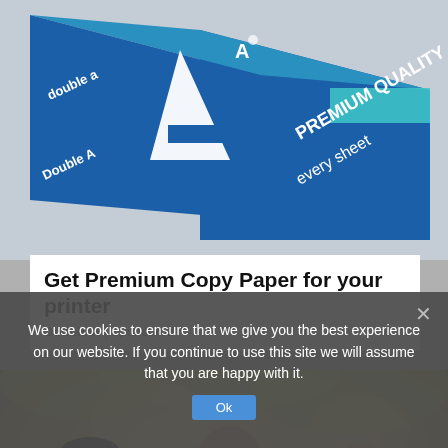[Figure (photo): Double A premium copy paper box, white and blue packaging, with text 'double a', 'Double A', 'PREMIUM QUALITY', 'every sheet' visible on a light gray background]
Get Premium Copy Paper for your printer
Double A | Sponsored
[Figure (photo): Children playing outdoors, smiling and happy, warm bokeh background with trees]
We use cookies to ensure that we give you the best experience on our website. If you continue to use this site we will assume that you are happy with it.